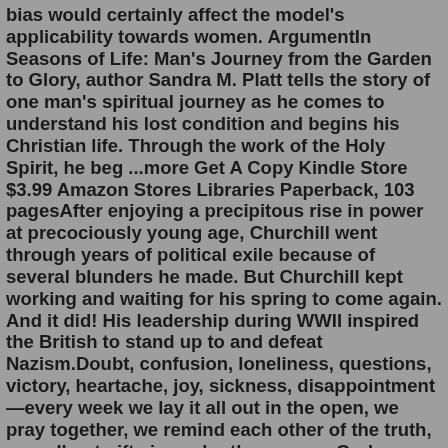bias would certainly affect the model's applicability towards women. ArgumentIn Seasons of Life: Man's Journey from the Garden to Glory, author Sandra M. Platt tells the story of one man's spiritual journey as he comes to understand his lost condition and begins his Christian life. Through the work of the Holy Spirit, he beg ...more Get A Copy Kindle Store $3.99 Amazon Stores Libraries Paperback, 103 pagesAfter enjoying a precipitous rise in power at precociously young age, Churchill went through years of political exile because of several blunders he made. But Churchill kept working and waiting for his spring to come again. And it did! His leadership during WWII inspired the British to stand up to and defeat Nazism.Doubt, confusion, loneliness, questions, victory, heartache, joy, sickness, disappointment—every week we lay it all out in the open, we pray together, we remind each other of the truth, we call out gifts in each other we see God developing. And as we do, our confidence is restored that God is working. the side method free book The Seasons of Life